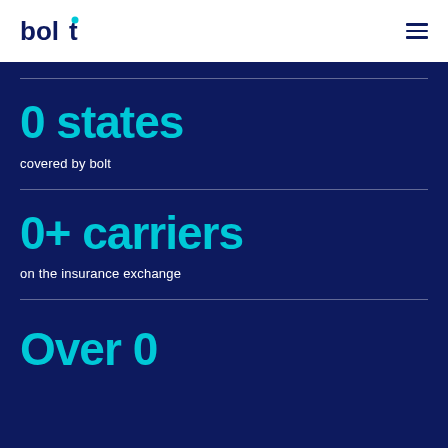[Figure (logo): Bolt logo in dark navy with cyan dot above letter t]
0 states
covered by bolt
0+ carriers
on the insurance exchange
Over 0